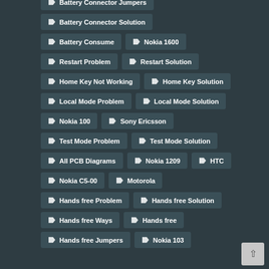Battery Connector Jumpers
Battery Connector Solution
Battery Consume
Nokia 1600
Restart Problem
Restart Solution
Home Key Not Working
Home Key Solution
Local Mode Problem
Local Mode Solution
Nokia 100
Sony Ericsson
Test Mode Problem
Test Mode Solution
All PCB Diagrams
Nokia 1209
HTC
Nokia C5-00
Motorola
Hands free Problem
Hands free Solution
Hands free Ways
Hands free
Hands free Jumpers
Nokia 103